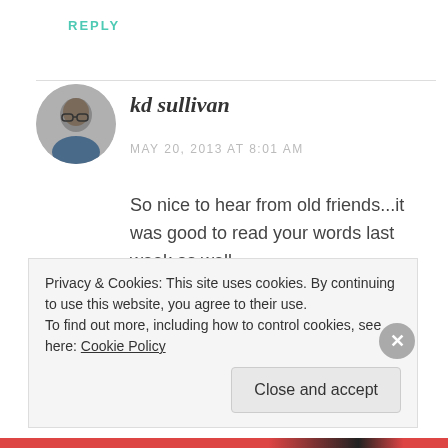REPLY
kd sullivan
MAY 20, 2013 AT 8:01 AM
So nice to hear from old friends...it was good to read your words last week as well...
REPLY
Privacy & Cookies: This site uses cookies. By continuing to use this website, you agree to their use.
To find out more, including how to control cookies, see here: Cookie Policy
Close and accept